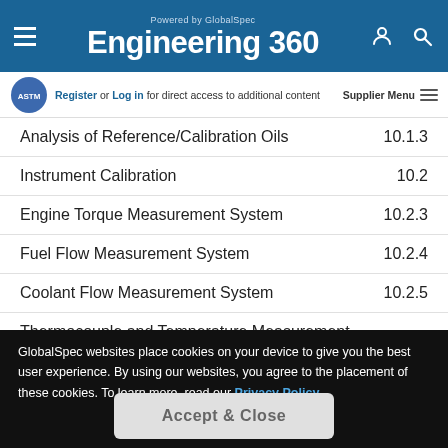Powered by GlobalSpec — Engineering 360
Register or Log in for direct access to additional content
Analysis of Reference/Calibration Oils    10.1.3
Instrument Calibration    10.2
Engine Torque Measurement System    10.2.3
Fuel Flow Measurement System    10.2.4
Coolant Flow Measurement System    10.2.5
Thermocouple and Temperature Measurement System    10.2.6
GlobalSpec websites place cookies on your device to give you the best user experience. By using our websites, you agree to the placement of these cookies. To learn more, read our Privacy Policy
Accept & Close